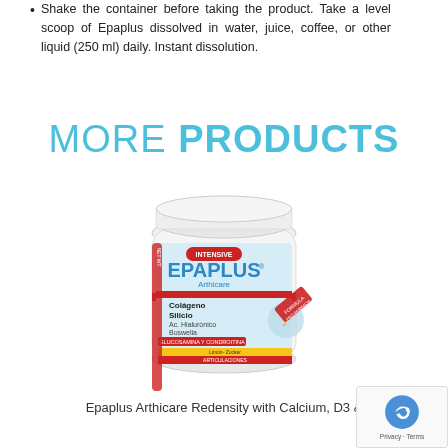Shake the container before taking the product. Take a level scoop of Epaplus dissolved in water, juice, coffee, or other liquid (250 ml) daily. Instant dissolution.
MORE PRODUCTS
[Figure (photo): Product photo of Epaplus Arthicare Intensive jar with label showing Colágeno Silicio, Ac. Hialurónico, Boswelia, GLUCOSAMINA Y CONDROITINA, ARTICULACIONES]
Epaplus Arthicare Redensity with Calcium, D3 & K2